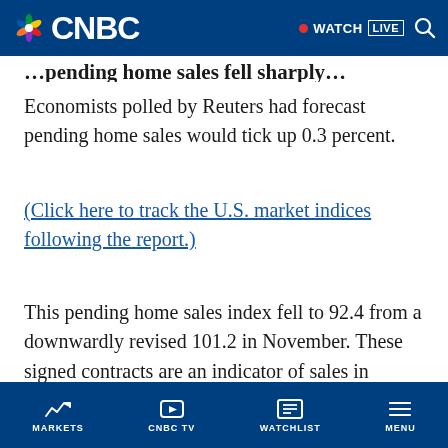CNBC — WATCH LIVE
Economists polled by Reuters had forecast pending home sales would tick up 0.3 percent.
(Click here to track the U.S. market indices following the report.)
This pending home sales index fell to 92.4 from a downwardly revised 101.2 in November. These signed contracts are an indicator of sales in January and February, and are at the lowest level since October 2011.
MARKETS  CNBC TV  WATCHLIST  MENU